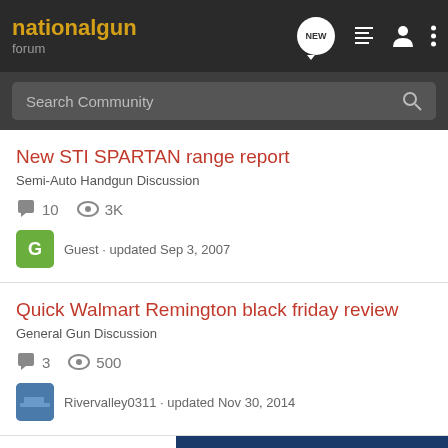nationalgun forum
Search Community
New STI SPARTAN range report
Semi-Auto Handgun Discussion
10 replies, 3K views, Guest · updated Sep 3, 2007
Quick Walmart Remington black friday review
General Gun Discussion
3 replies, 500 views, Rivervalley0311 · updated Nov 30, 2014
[Figure (screenshot): Advertisement banner: BETTER BUY MORE with image of a firearm on blue background]
Anothe...